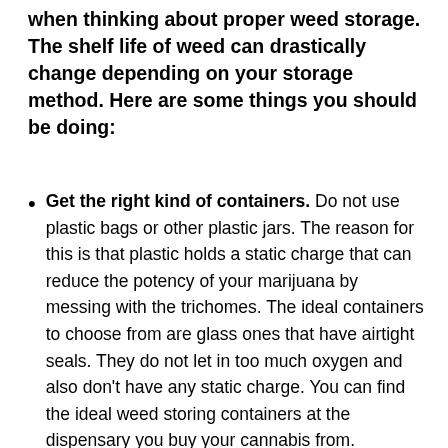when thinking about proper weed storage. The shelf life of weed can drastically change depending on your storage method. Here are some things you should be doing:
Get the right kind of containers. Do not use plastic bags or other plastic jars. The reason for this is that plastic holds a static charge that can reduce the potency of your marijuana by messing with the trichomes. The ideal containers to choose from are glass ones that have airtight seals. They do not let in too much oxygen and also don't have any static charge. You can find the ideal weed storing containers at the dispensary you buy your cannabis from.